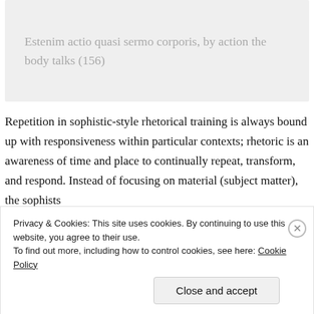Estenim actio quasi sermo corporis, by action the body talks (156)
Repetition in sophistic-style rhetorical training is always bound up with responsiveness within particular contexts; rhetoric is an awareness of time and place to continually repeat, transform, and respond. Instead of focusing on material (subject matter), the sophists
Privacy & Cookies: This site uses cookies. By continuing to use this website, you agree to their use.
To find out more, including how to control cookies, see here: Cookie Policy